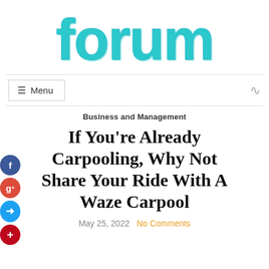[Figure (logo): Forum website logo in large teal sketchy/hatched typography]
≡ Menu
Business and Management
If You're Already Carpooling, Why Not Share Your Ride With A Waze Carpool
May 25, 2022   No Comments